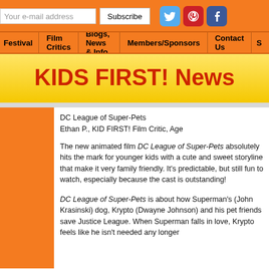Your e-mail address | Subscribe | [Twitter] [Pinterest] [Facebook]
Festival | Film Critics | Blogs, News & Info | Members/Sponsors | Contact Us | S
KIDS FIRST! News
DC League of Super-Pets
Ethan P., KID FIRST! Film Critic, Age
The new animated film DC League of Super-Pets absolutely hits the mark for younger kids with a cute and sweet storyline that make it very family friendly. It's predictable, but still fun to watch, especially because the cast is outstanding!
DC League of Super-Pets is about how Superman's (John Krasinski) dog, Krypto (Dwayne Johnson) and his pet friends save Justice League. When Superman falls in love, Krypto feels like he isn't needed any longer